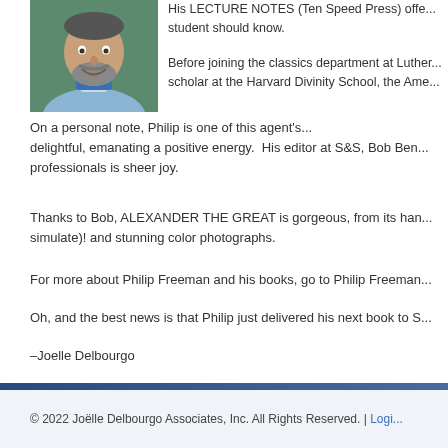[Figure (photo): Headshot of a man with a beard wearing a blue bandana around his neck and a light blue shirt, smiling, with a green background.]
His LECTURE NOTES (Ten Speed Press) offer... student should know.
Before joining the classics department at Luther... scholar at the Harvard Divinity School, the Ame...
On a personal note, Philip is one of this agent's... delightful, emanating a positive energy.  His editor at S&S, Bob Ben... professionals is sheer joy.
Thanks to Bob, ALEXANDER THE GREAT is gorgeous, from its han... simulate)! and stunning color photographs.
For more about Philip Freeman and his books, go to Philip Freeman...
Oh, and the best news is that Philip just delivered his next book to S...
–Joelle Delbourgo
Categories: Buzz
← Previous
© 2022 Joëlle Delbourgo Associates, Inc. All Rights Reserved. | Logi...